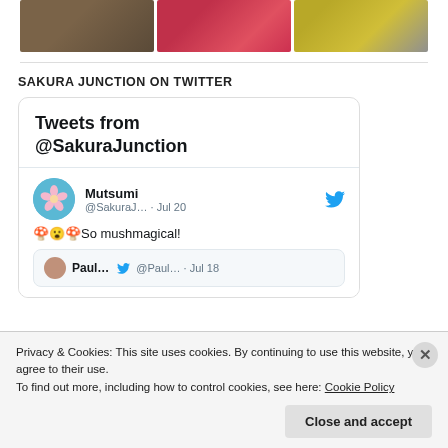[Figure (photo): Three food/drink photos in a horizontal strip at the top: left shows market/food stall items, center shows red round fruits (apples or similar), right shows canned beverages arranged in a pattern.]
SAKURA JUNCTION ON TWITTER
[Figure (screenshot): Twitter widget showing tweets from @SakuraJunction. A tweet by Mutsumi (@SakuraJ…) from Jul 20 reads: 🍄😮🍄So mushmagical! Below is a reply preview showing another user (Paul…/@Paul… Jul 18).]
Privacy & Cookies: This site uses cookies. By continuing to use this website, you agree to their use.
To find out more, including how to control cookies, see here: Cookie Policy
Close and accept